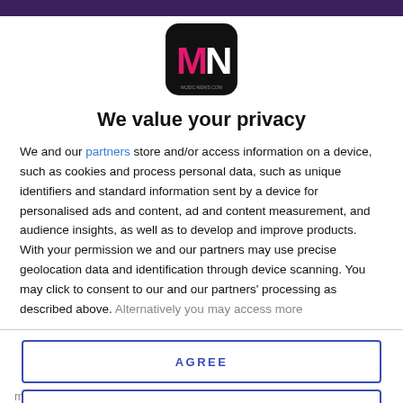[Figure (logo): MN logo — black rounded square with pink M and white N letters, representing Music-News.com]
We value your privacy
We and our partners store and/or access information on a device, such as cookies and process personal data, such as unique identifiers and standard information sent by a device for personalised ads and content, ad and content measurement, and audience insights, as well as to develop and improve products. With your permission we and our partners may use precise geolocation data and identification through device scanning. You may click to consent to our and our partners' processing as described above. Alternatively you may access more
AGREE
MORE OPTIONS
made people realise we're all in this together, as cheeseball